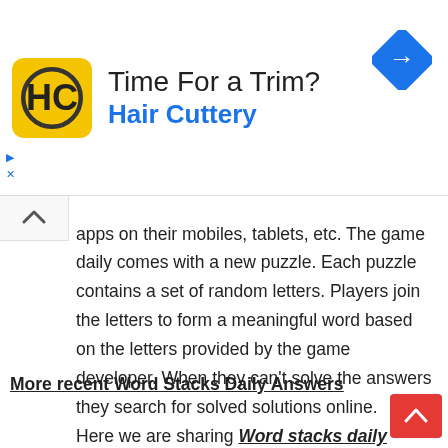[Figure (infographic): Advertisement banner for Hair Cuttery with yellow HC logo, text 'Time For a Trim?' and 'Hair Cuttery', blue right-turn arrow icon, and small ad icons at bottom left]
apps on their mobiles, tablets, etc. The game daily comes with a new puzzle. Each puzzle contains a set of random letters. Players join the letters to form a meaningful word based on the letters provided by the game developer. When they can't solve the answers they search for solved solutions online. Here we are sharing Word stacks daily puzzles answers date wise to help game lovers.
More recent Word Stacks Daily Answers